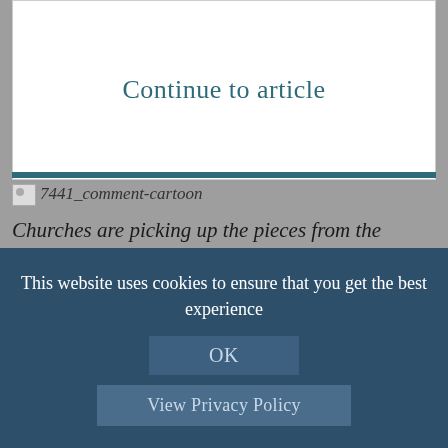Continue to article
[Figure (illustration): Broken image placeholder labeled 7441_comment-cartoon]
Churches are picking up the pieces from the Government's inhumane asylum policies, argues Paul Donovan
Churches have become the main support for asylum-seekers who are thrown into destitution as a result of government policy. A growing number of asylum-seekers are being denied benefits and accommodation while they await deportation. As they are also denied the right to work,
This website uses cookies to ensure that you get the best experience
OK
View Privacy Policy